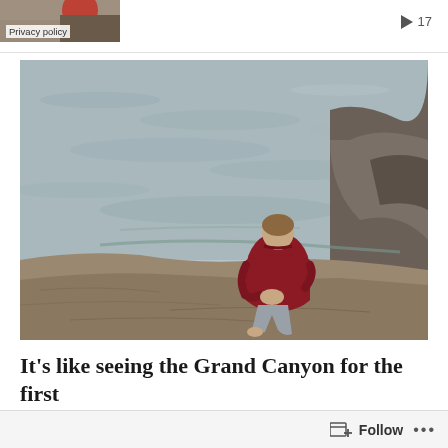Privacy policy   ▶ 17
[Figure (photo): Person in a red/maroon hoodie sitting on rocky shoreline, viewed from behind, looking out over calm grey-green water with rocky outcroppings]
It's like seeing the Grand Canyon for the first time. You look over the edge, and it goes
Follow  ...